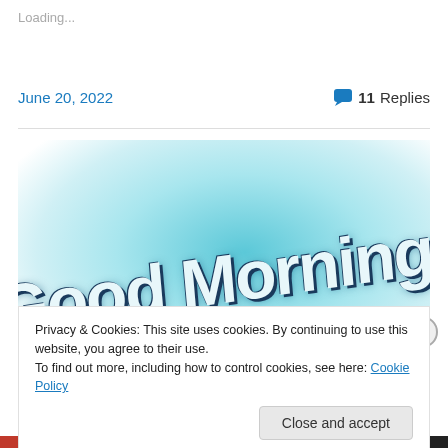Loading...
June 20, 2022
💬 11 Replies
[Figure (illustration): Stylized 'Good Morning' text in large bold retro font with teal/cyan glow effect on white-to-teal radial gradient background]
Privacy & Cookies: This site uses cookies. By continuing to use this website, you agree to their use.
To find out more, including how to control cookies, see here: Cookie Policy
Close and accept